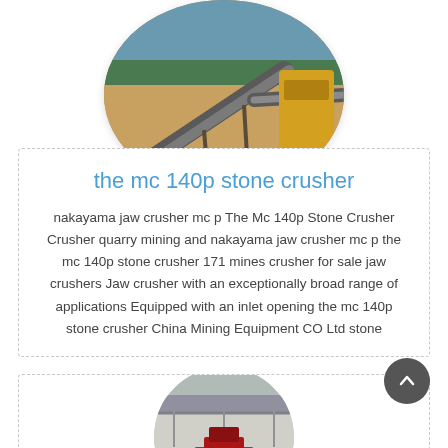[Figure (photo): Aerial/overview photo of a stone crusher mining facility with conveyor belts and heavy machinery, shown inside a circular/oval crop]
the mc 140p stone crusher
nakayama jaw crusher mc p The Mc 140p Stone Crusher Crusher quarry mining and nakayama jaw crusher mc p the mc 140p stone crusher 171 mines crusher for sale jaw crushers Jaw crusher with an exceptionally broad range of applications Equipped with an inlet opening the mc 140p stone crusher China Mining Equipment CO Ltd stone
[Figure (photo): Interior photo of a stone crusher or industrial facility with red machinery, shown inside a circular crop at the bottom of the page]